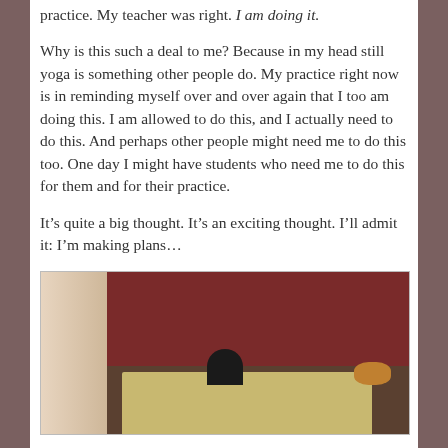practice. My teacher was right. I am doing it.
Why is this such a deal to me? Because in my head still yoga is something other people do. My practice right now is in reminding myself over and over again that I too am doing this. I am allowed to do this, and I actually need to do this. And perhaps other people might need me to do this too. One day I might have students who need me to do this for them and for their practice.
It’s quite a big thought. It’s an exciting thought. I’ll admit it: I’m making plans…
[Figure (photo): Indoor room scene with dark red/maroon walls, curtains on the left, a table with a light-colored tablecloth, a dark silhouette figure in the middle distance, bottles and items on the table, and a bowl of fruit on the right side.]